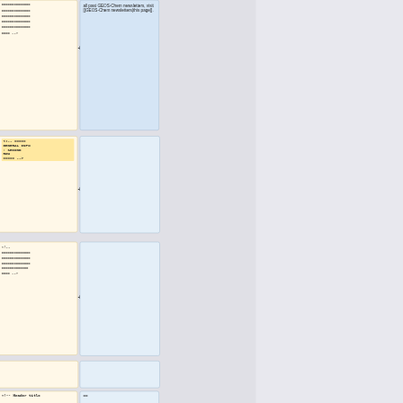[Figure (screenshot): Wiki diff view showing two rows. Row 1: left box (yellow) contains lines of equals signs and '==== -->', right box (blue) contains text 'all past GEOS-Chem newsletters, visit [[GEOS-Chem newsletters|this page]].' with minus and plus signs as diff indicators.]
[Figure (screenshot): Row 2: left box (yellow) contains '<!-- ===== GENERAL INFO : SECOND ROW ===== -->' highlighted, right box (blue/empty), with minus and plus diff indicators.]
[Figure (screenshot): Row 3: left box (yellow) contains '<!--' followed by lines of equals signs and '==== -->', right box (blue/empty), with minus and plus diff indicators.]
[Figure (screenshot): Row 4: two empty boxes (left yellow, right blue/gray).]
[Figure (screenshot): Row 5 partial: left box (yellow) contains '<!-- Header title', right box contains '==']